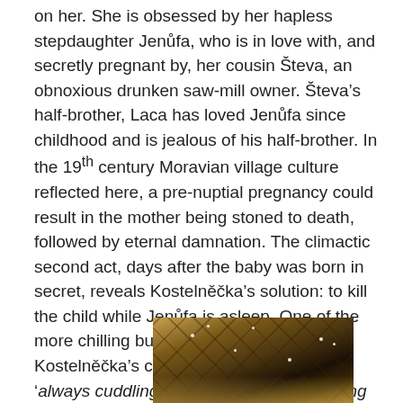on her. She is obsessed by her hapless stepdaughter Jenůfa, who is in love with, and secretly pregnant by, her cousin Števa, an obnoxious drunken saw-mill owner. Števa's half-brother, Laca has loved Jenůfa since childhood and is jealous of his half-brother. In the 19th century Moravian village culture reflected here, a pre-nuptial pregnancy could result in the mother being stoned to death, followed by eternal damnation. The climactic second act, days after the baby was born in secret, reveals Kostelnička's solution: to kill the child while Jenůfa is asleep. One of the more chilling build-ups to this act is Kostelnička's complaint that Jenůfa is 'always cuddling the child instead of praying to God that he would relieve you of him'.
[Figure (photo): Interior ceiling photo showing a domed or vaulted structure with geometric wooden beams and small lights visible, taken from below looking upward, warm amber and brown tones.]